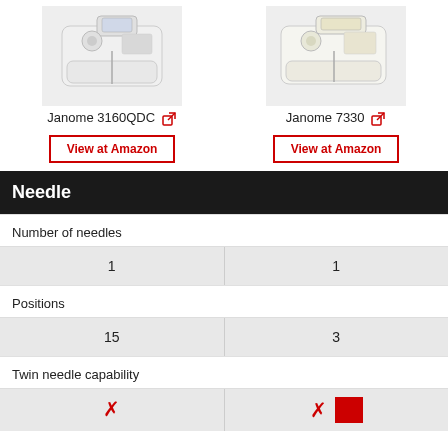[Figure (photo): Janome 3160QDC sewing machine photo]
[Figure (photo): Janome 7330 sewing machine photo]
Janome 3160QDC [external link]
Janome 7330 [external link]
View at Amazon
View at Amazon
Needle
Number of needles
| Janome 3160QDC | Janome 7330 |
| --- | --- |
| 1 | 1 |
Positions
| Janome 3160QDC | Janome 7330 |
| --- | --- |
| 15 | 3 |
Twin needle capability
| Janome 3160QDC | Janome 7330 |
| --- | --- |
| ✗ | ✗ / ■ |